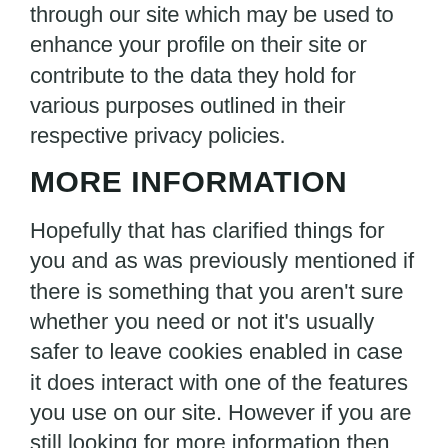through our site which may be used to enhance your profile on their site or contribute to the data they hold for various purposes outlined in their respective privacy policies.
MORE INFORMATION
Hopefully that has clarified things for you and as was previously mentioned if there is something that you aren't sure whether you need or not it's usually safer to leave cookies enabled in case it does interact with one of the features you use on our site. However if you are still looking for more information then you can contact us through one of our preferred contact methods.